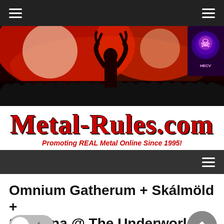Metal-Rules.com navigation bar
[Figure (photo): Metal concert banner photo with red lights and silhouette of crowd making devil horns gesture, plus a colorful skull graphic in top right corner]
Metal-Rules.com — Promoting REAL Metal Online Since 1995!
Secondary navigation bar with hamburger menu
Omnium Gatherum + Skálmöld + Stam1na @ The Underworld, L
October 29, 2017   Metal-Rules.com UK Team